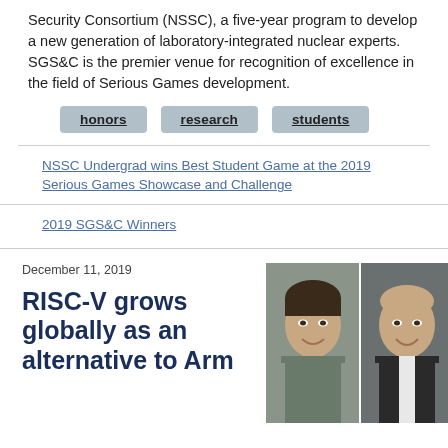Security Consortium (NSSC), a five-year program to develop a new generation of laboratory-integrated nuclear experts. SGS&C is the premier venue for recognition of excellence in the field of Serious Games development.
honors
research
students
NSSC Undergrad wins Best Student Game at the 2019 Serious Games Showcase and Challenge
2019 SGS&C Winners
December 11, 2019
RISC-V grows globally as an alternative to Arm
[Figure (photo): Two headshot photos side by side: a younger man with dark hair smiling (left) and an older bald man in a dark suit smiling (right)]